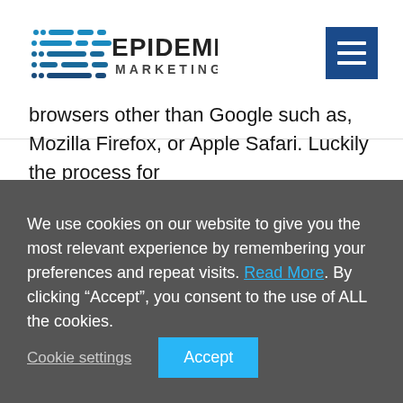[Figure (logo): Epidemic Marketing logo with stylized horizontal lines forming a signal/wave graphic next to the text 'EPIDEMIC MARKETING']
browsers other than Google such as, Mozilla Firefox, or Apple Safari. Luckily the process for
We use cookies on our website to give you the most relevant experience by remembering your preferences and repeat visits. Read More. By clicking “Accept”, you consent to the use of ALL the cookies.
Cookie settings    Accept